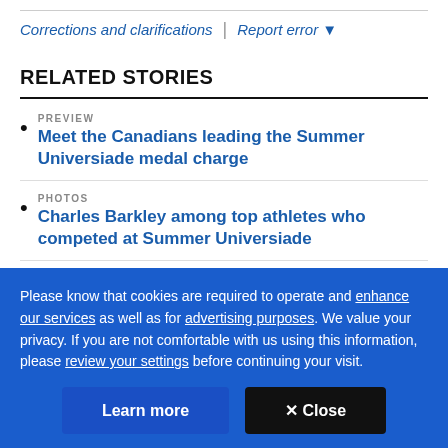Corrections and clarifications | Report error ▼
RELATED STORIES
PREVIEW  Meet the Canadians leading the Summer Universiade medal charge
PHOTOS  Charles Barkley among top athletes who competed at Summer Universiade
Please know that cookies are required to operate and enhance our services as well as for advertising purposes. We value your privacy. If you are not comfortable with us using this information, please review your settings before continuing your visit.
Learn more
✕ Close